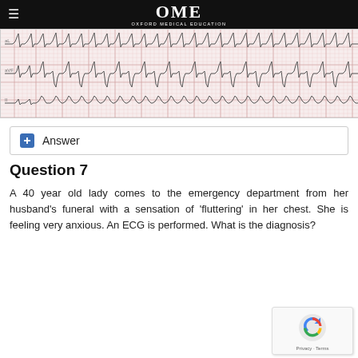OME OXFORD MEDICAL EDUCATION
[Figure (other): ECG tracing showing multiple leads with cardiac waveforms on pink/red grid paper]
+ Answer
Question 7
A 40 year old lady comes to the emergency department from her husband's funeral with a sensation of 'fluttering' in her chest. She is feeling very anxious. An ECG is performed. What is the diagnosis?